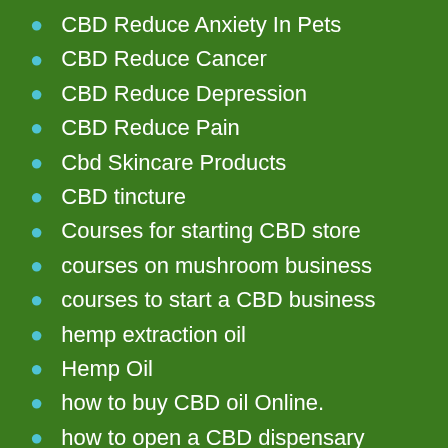CBD Reduce Anxiety In Pets
CBD Reduce Cancer
CBD Reduce Depression
CBD Reduce Pain
Cbd Skincare Products
CBD tincture
Courses for starting CBD store
courses on mushroom business
courses to start a CBD business
hemp extraction oil
Hemp Oil
how to buy CBD oil Online.
how to open a CBD dispensary
how to open a dispensary
how to start a CBD business